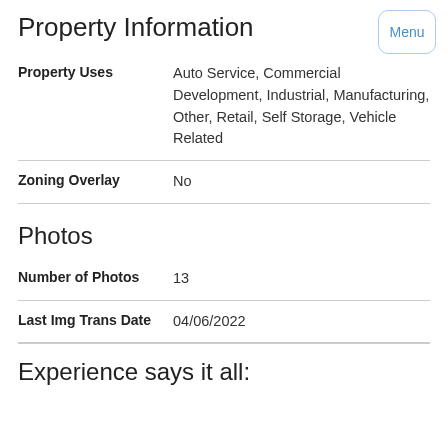Property Information
| Field | Value |
| --- | --- |
| Property Uses | Auto Service, Commercial Development, Industrial, Manufacturing, Other, Retail, Self Storage, Vehicle Related |
| Zoning Overlay | No |
Photos
| Field | Value |
| --- | --- |
| Number of Photos | 13 |
| Last Img Trans Date | 04/06/2022 |
Experience says it all: